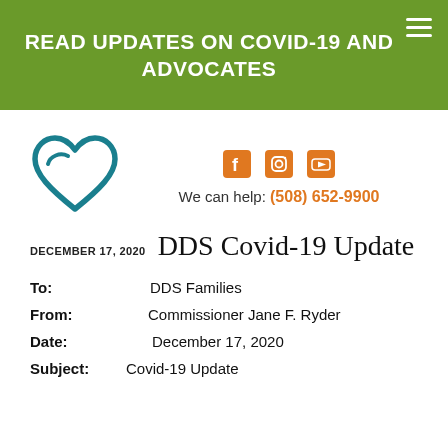READ UPDATES ON COVID-19 AND ADVOCATES
[Figure (logo): Teal heart/advocate logo and social media icons (Facebook, Instagram, YouTube) with phone number: We can help: (508) 652-9900]
DECEMBER 17, 2020 DDS Covid-19 Update
To: DDS Families
From: Commissioner Jane F. Ryder
Date: December 17, 2020
Subject: Covid-19 Update